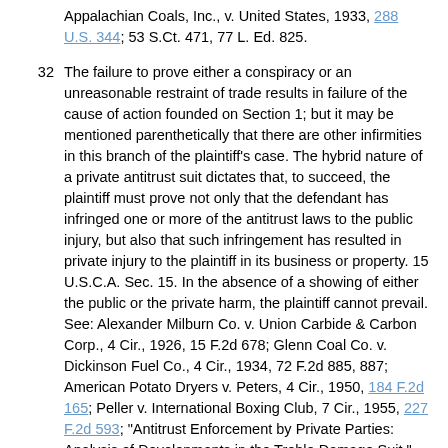Appalachian Coals, Inc., v. United States, 1933, 288 U.S. 344; 53 S.Ct. 471, 77 L. Ed. 825.
32 The failure to prove either a conspiracy or an unreasonable restraint of trade results in failure of the cause of action founded on Section 1; but it may be mentioned parenthetically that there are other infirmities in this branch of the plaintiff's case. The hybrid nature of a private antitrust suit dictates that, to succeed, the plaintiff must prove not only that the defendant has infringed one or more of the antitrust laws to the public injury, but also that such infringement has resulted in private injury to the plaintiff in its business or property. 15 U.S.C.A. Sec. 15. In the absence of a showing of either the public or the private harm, the plaintiff cannot prevail. See: Alexander Milburn Co. v. Union Carbide & Carbon Corp., 4 Cir., 1926, 15 F.2d 678; Glenn Coal Co. v. Dickinson Fuel Co., 4 Cir., 1934, 72 F.2d 885, 887; American Potato Dryers v. Peters, 4 Cir., 1950, 184 F.2d 165; Peller v. International Boxing Club, 7 Cir., 1955, 227 F.2d 593; "Antitrust Enforcement by Private Parties: Analysis of Developments in the Treble Damage Suit," 61 Yale L.J. (1952), 1010; "Treble Damages — Reward for Private Enforcement of Federal Anti-Trust Laws," 32 Dicta (1955), 293.
33 Even though Miller Motors received $716.37 more in LMDA